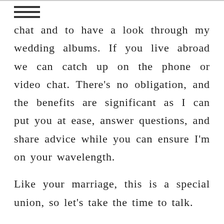chat and to have a look through my wedding albums. If you live abroad we can catch up on the phone or video chat. There's no obligation, and the benefits are significant as I can put you at ease, answer questions, and share advice while you can ensure I'm on your wavelength.

Like your marriage, this is a special union, so let's take the time to talk.

Book an appointment here to call out